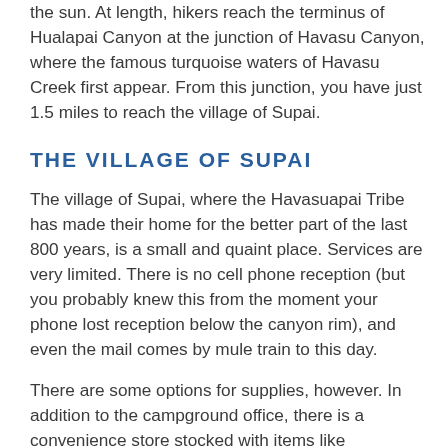the sun.  At length, hikers reach the terminus of Hualapai Canyon at the junction of Havasu Canyon, where the famous turquoise waters of Havasu Creek first appear.  From this junction, you have just 1.5 miles to reach the village of Supai.
THE VILLAGE OF SUPAI
The village of Supai, where the Havasuapai Tribe has made their home for the better part of the last 800 years, is a small and quaint place.  Services are very limited.  There is no cell phone reception (but you probably knew this from the moment your phone lost reception below the canyon rim), and even the mail comes by mule train to this day.
There are some options for supplies, however.  In addition to the campground office,  there is a convenience store stocked with items like